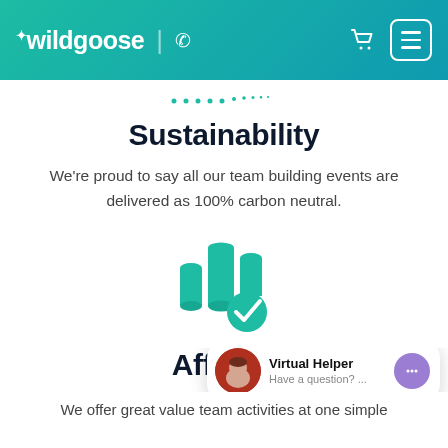wildgoose | phone cart menu
[Figure (other): Decorative teal dots arc at top of content area]
Sustainability
We're proud to say all our team building events are delivered as 100% carbon neutral.
[Figure (illustration): Teal icon of bar chart cylinders with a green checkmark circle overlay]
Afforda
[Figure (screenshot): Virtual Helper chat bubble with avatar photo and text: Virtual Helper / Have a question? ...]
We offer great value team activities at one simple